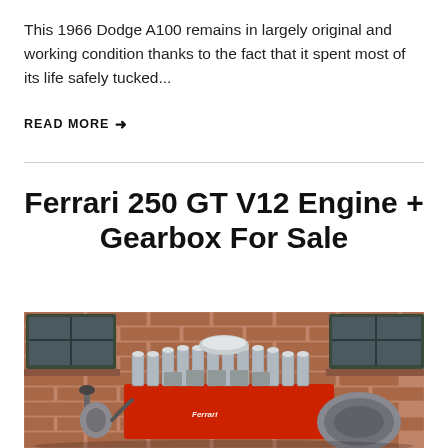This 1966 Dodge A100 remains in largely original and working condition thanks to the fact that it spent most of its life safely tucked...
READ MORE →
Ferrari 250 GT V12 Engine + Gearbox For Sale
[Figure (photo): Photo of a Ferrari 250 GT V12 engine and gearbox displayed outdoors against a brick wall background]